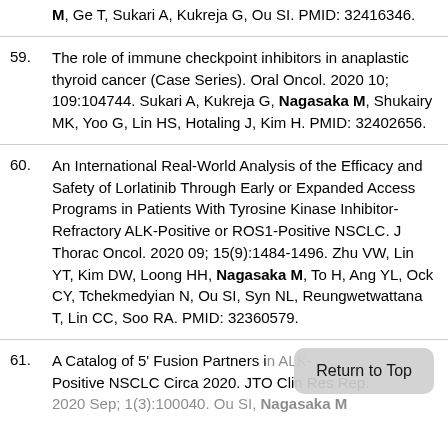M, Ge T, Sukari A, Kukreja G, Ou SI. PMID: 32416346.
59. The role of immune checkpoint inhibitors in anaplastic thyroid cancer (Case Series). Oral Oncol. 2020 10; 109:104744. Sukari A, Kukreja G, Nagasaka M, Shukairy MK, Yoo G, Lin HS, Hotaling J, Kim H. PMID: 32402656.
60. An International Real-World Analysis of the Efficacy and Safety of Lorlatinib Through Early or Expanded Access Programs in Patients With Tyrosine Kinase Inhibitor-Refractory ALK-Positive or ROS1-Positive NSCLC. J Thorac Oncol. 2020 09; 15(9):1484-1496. Zhu VW, Lin YT, Kim DW, Loong HH, Nagasaka M, To H, Ang YL, Ock CY, Tchekmedyian N, Ou SI, Syn NL, Reungwetwattana T, Lin CC, Soo RA. PMID: 32360579.
61. A Catalog of 5' Fusion Partners in ALK-Positive NSCLC Circa 2020. JTO Clin Res Rep. 2020 Sep; 1(3):100040. Ou SI, Nagasaka M...
Return to Top